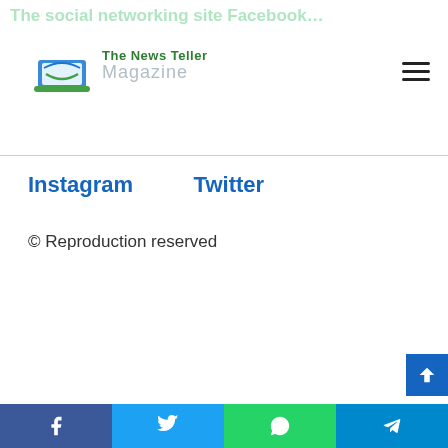The social networking site Facebook… | The News Teller Magazine
Instagram
Twitter
© Reproduction reserved
Share buttons: Facebook, Twitter, WhatsApp, Telegram